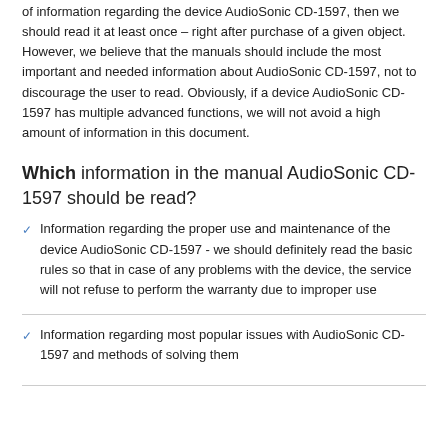of information regarding the device AudioSonic CD-1597, then we should read it at least once – right after purchase of a given object. However, we believe that the manuals should include the most important and needed information about AudioSonic CD-1597, not to discourage the user to read. Obviously, if a device AudioSonic CD-1597 has multiple advanced functions, we will not avoid a high amount of information in this document.
Which information in the manual AudioSonic CD-1597 should be read?
Information regarding the proper use and maintenance of the device AudioSonic CD-1597 - we should definitely read the basic rules so that in case of any problems with the device, the service will not refuse to perform the warranty due to improper use
Information regarding most popular issues with AudioSonic CD-1597 and methods of solving them